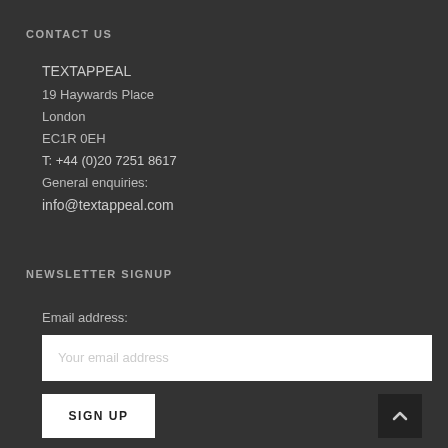CONTACT US
TEXTAPPEAL
19 Haywards Place
London
EC1R 0EH
T: +44 (0)20 7251 8617
General enquiries:
info@textappeal.com
NEWSLETTER SIGNUP
Email address:
Your email address
SIGN UP